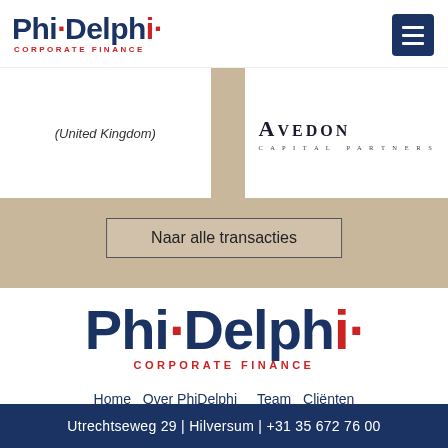PhiDelphi Corporate Finance
[Figure (logo): Avedon Capital Partners logo with text '(United Kingdom)']
Naar alle transacties
[Figure (logo): PhiDelphi Corporate Finance large logo]
Home  Over PhiDelphi  Team  Cliënten  Transacties  Internationaal  Contact
PhiDelphi Corporate Finance B.V. All rights reserved. Tel +31 35 672 76 00
Ontwerp en realisatie: Smeedijzer Internet
Utrechtseweg 29 | Hilversum | +31 35 672 76 00